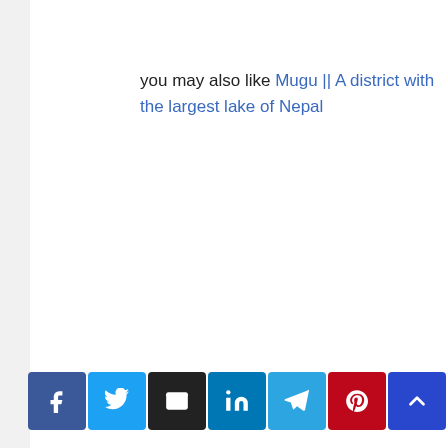you may also like Mugu || A district with the largest lake of Nepal
Social share buttons: Facebook, Twitter, Email, LinkedIn, Telegram, Pinterest, Back to top